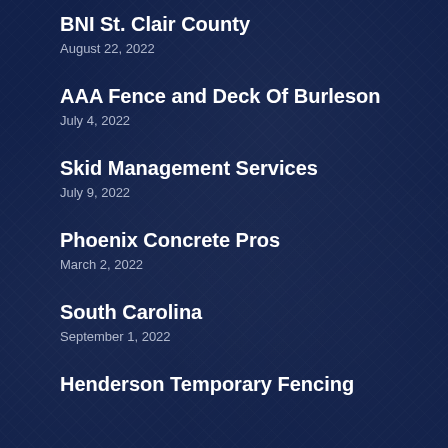BNI St. Clair County
August 22, 2022
AAA Fence and Deck Of Burleson
July 4, 2022
Skid Management Services
July 9, 2022
Phoenix Concrete Pros
March 2, 2022
South Carolina
September 1, 2022
Henderson Temporary Fencing